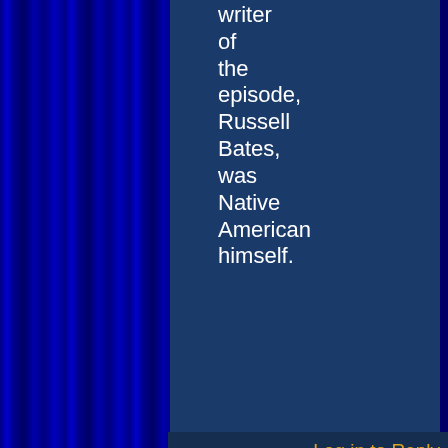writer of the episode, Russell Bates, was Native American himself.
Log in to Reply
April 24, 2017 at 9:23 am
Spike
[Figure (illustration): Cartoon sketch of a person with arms raised, text 'RAWR :3' visible, black and white illustration on white background]
I'm on a post!
Comments: 241
Yeah I did know about that episode thanks to SFDeb Trek review